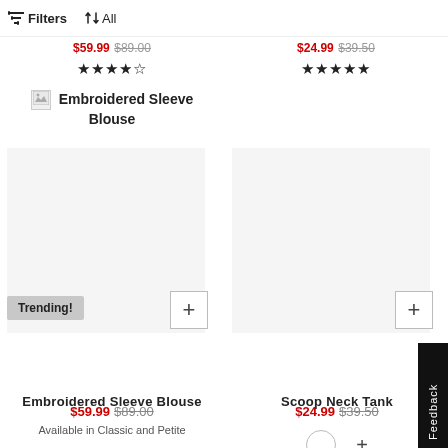Filters  ↑↓ All
$59.99 $89.00  ★★★★☆   $24.99 $39.50  ★★★★★
Embroidered Sleeve Blouse
[Figure (screenshot): Product listing cards: left card shows 'Embroidered Sleeve Blouse' with Trending! badge and + button; right card shows 'Scoop Neck Tank' with + button. Both cards have product images (white background).]
Embroidered Sleeve Blouse
$59.99  $89.00
Available in Classic and Petite
Scoop Neck Tank
$24.99  $39.50